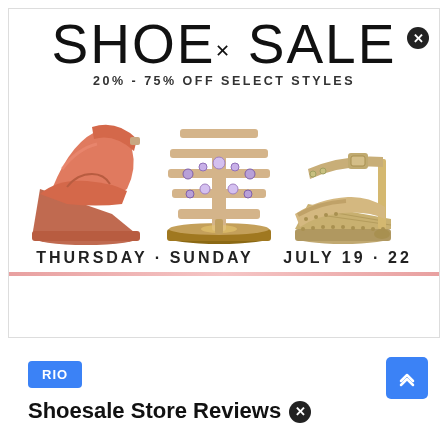[Figure (photo): Shoe sale advertisement banner showing three shoes (coral wedge, jeweled sandal, nude platform heel) with text 'SHOE* SALE 20%-75% OFF SELECT STYLES THURSDAY·SUNDAY JULY 19·22']
RIO
Shoesale Store Reviews